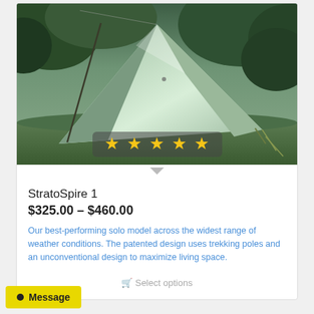[Figure (photo): Outdoor photo of a green/grey ultralight tent set up on grass with trees in background. A star rating overlay (5 stars) is visible at the bottom of the image.]
StratoSpire 1
$325.00 – $460.00
Our best-performing solo model across the widest range of weather conditions. The patented design uses trekking poles and an unconventional design to maximize living space.
Select options
Message